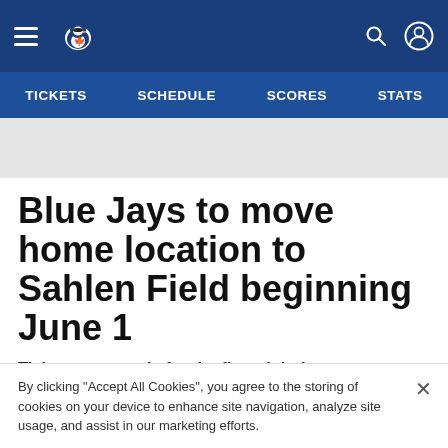Blue Jays website navigation header with hamburger menu, Blue Jays logo, search icon, and user icon
TICKETS  SCHEDULE  SCORES  STATS
Blue Jays to move home location to Sahlen Field beginning June 1
Tickets go on sale for the first eight home games, beginning Thursday, May 13
By clicking "Accept All Cookies", you agree to the storing of cookies on your device to enhance site navigation, analyze site usage, and assist in our marketing efforts.